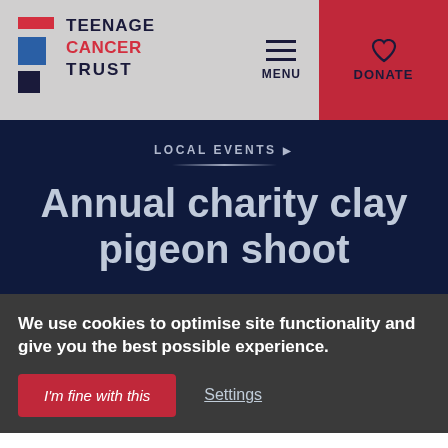[Figure (logo): Teenage Cancer Trust logo with red and blue squares on left and bold text on right]
MENU
DONATE
LOCAL EVENTS ▶
Annual charity clay pigeon shoot
We use cookies to optimise site functionality and give you the best possible experience.
I'm fine with this
Settings